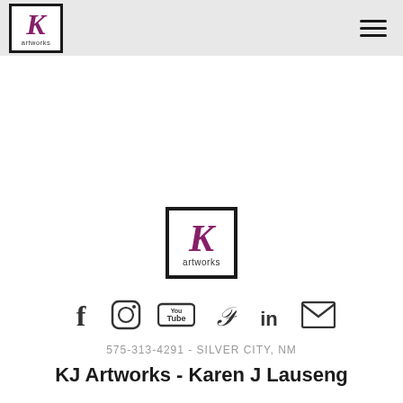KJ Artworks logo and navigation header
[Figure (logo): KJ Artworks logo centered on page — stylized purple/maroon italic K above the word artworks in a black-bordered white square]
[Figure (infographic): Social media icons row: Facebook, Instagram, YouTube, Pinterest, LinkedIn, Email]
575-313-4291 - SILVER CITY, NM
KJ Artworks - Karen J Lauseng